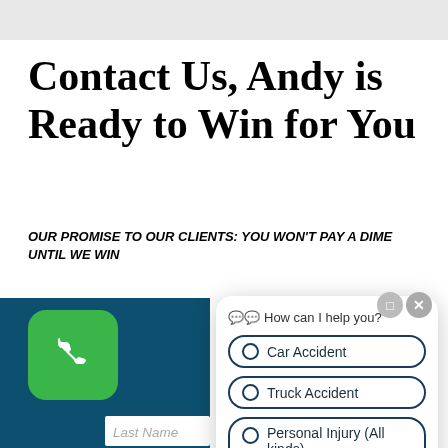Contact Us, Andy is Ready to Win for You
OUR PROMISE TO OUR CLIENTS: YOU WON'T PAY A DIME UNTIL WE WIN
[Figure (screenshot): Green phone call button (rounded square, green background, white phone handset icon)]
First Name
Last Name
[Figure (screenshot): Chat widget with header 'How can I help you?' and three radio button options: Car Accident, Truck Accident, Personal Injury (All kinds). Has minimize and close buttons.]